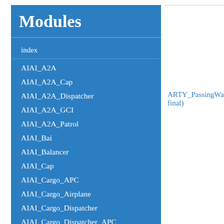Modules
index
AIAI_A2A
AIAI_A2A_Cap
AIAI_A2A_Dispatcher
AIAI_A2A_GCI
AIAI_A2A_Patrol
AIAI_Bai
AIAI_Balancer
AIAI_Cap
AIAI_Cargo_APC
AIAI_Cargo_Airplane
AIAI_Cargo_Dispatcher
AIAI_Cargo_Dispatcher_APC
AIAI_Cargo_Dispatcher_Airplane
AIAI_Cargo_Dispatcher_Helicopte
ARTY_PassingWaypo final)